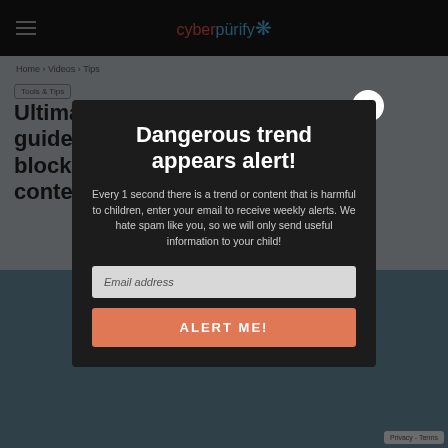cyberpürify (navigation bar with hamburger menu and close button)
Home › Videos › Tips
Tools & Tips
Ultimate parents guide to Twitter to block adult content
[Figure (screenshot): Background image of a person looking at a phone, partially visible behind modal overlay]
Dangerous trend appears alert!
Every 1 second there is a trend or content that is harmful to children, enter your email to receive weekly alerts. We hate spam like you, so we will only send useful information to your child!
Email address
ALERT ME!
Privacy - Terms